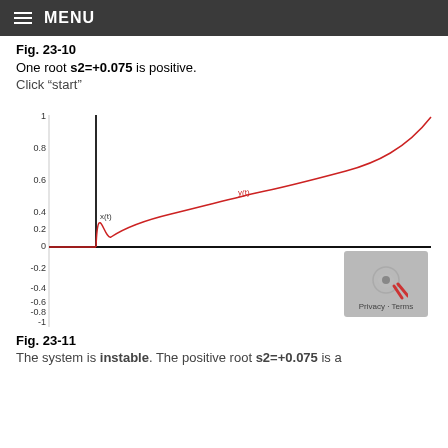MENU
Fig. 23-10
One root s2=+0.075 is positive.
Click “start”
[Figure (continuous-plot): Plot showing x(t) as a vertical black step at t~3 going from 0 to 1, and y(t) as a red curve starting near 0, rising steeply then more gradually to approach 1 as t increases to ~26. Y-axis from -1 to 1, X-axis from 0 to 26.]
Fig. 23-11
The system is instable. The positive root s2=+0.075 is a